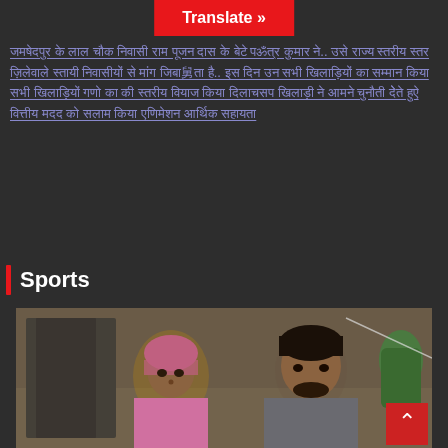Translate »
[Hindi/Devanagari script text - underlined paragraph about a sports-related news story]
Sports
[Figure (photo): Two people seated indoors — an older woman in a pink sari on the left and a young man in a grey t-shirt on the right, photographed inside a modest room with concrete walls and a green bag visible in the background.]